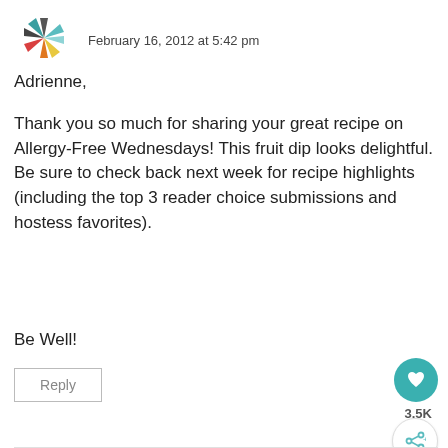[Figure (illustration): Colorful pinwheel/star avatar icon made of triangular petals in teal, gray, yellow, orange, red colors]
February 16, 2012 at 5:42 pm
Adrienne,
Thank you so much for sharing your great recipe on Allergy-Free Wednesdays! This fruit dip looks delightful. Be sure to check back next week for recipe highlights (including the top 3 reader choice submissions and hostess favorites).
Be Well!
Reply
3.5K